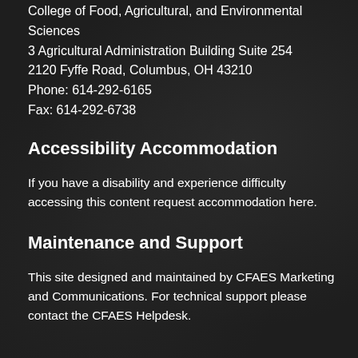College of Food, Agricultural, and Environmental Sciences
3 Agricultural Administration Building Suite 254
2120 Fyffe Road, Columbus, OH 43210
Phone: 614-292-6165
Fax: 614-292-6738
Accessibility Accommodation
If you have a disability and experience difficulty accessing this content request accommodation here.
Maintenance and Support
This site designed and maintained by CFAES Marketing and Communications. For technical support please contact the CFAES Helpdesk.